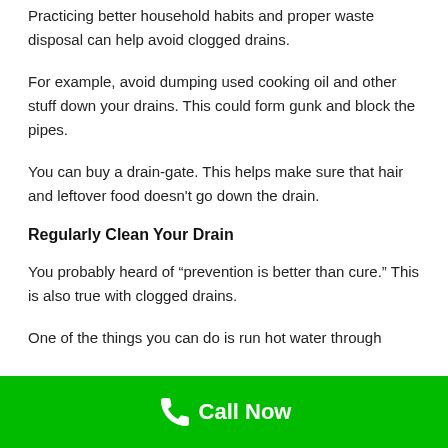Practicing better household habits and proper waste disposal can help avoid clogged drains.
For example, avoid dumping used cooking oil and other stuff down your drains. This could form gunk and block the pipes.
You can buy a drain-gate. This helps make sure that hair and leftover food doesn't go down the drain.
Regularly Clean Your Drain
You probably heard of “prevention is better than cure.” This is also true with clogged drains.
One of the things you can do is run hot water through…
Call Now